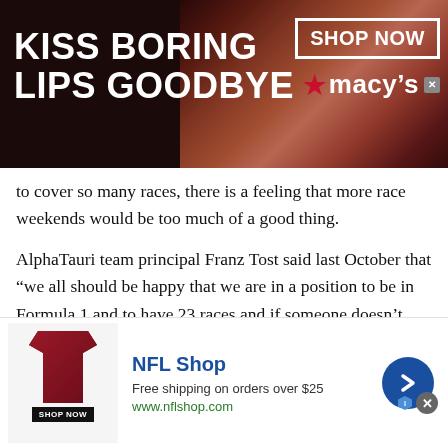[Figure (illustration): Macy's advertisement banner showing 'KISS BORING LIPS GOODBYE' text with a woman's face wearing red lipstick and Macy's branding with SHOP NOW button]
to cover so many races, there is a feeling that more race weekends would be too much of a good thing.
AlphaTauri team principal Franz Tost said last October that “we all should be happy that we are in a position to be in Formula 1 and to have 23 races and if someone doesn’t like it then he should go.” But ahead of the new season he commented: “For me 23 races is the absolute limit, not from the workload point of view, but because I am concerned that with such a high number of races, in the end it could cause people to lose interest in Formula 1.”
Rather than a NASCAR-style schedule of months featuring a
[Figure (illustration): NFL Shop advertisement banner showing a dark red jersey, NFL Shop logo, 'Free shipping on orders over $25', www.nflshop.com URL, and a blue arrow button]